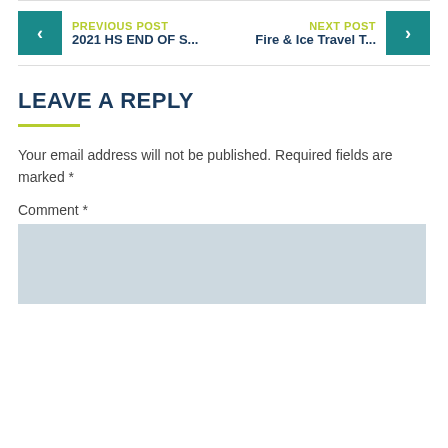PREVIOUS POST
2021 HS END OF S...
NEXT POST
Fire & Ice Travel T...
LEAVE A REPLY
Your email address will not be published. Required fields are marked *
Comment *